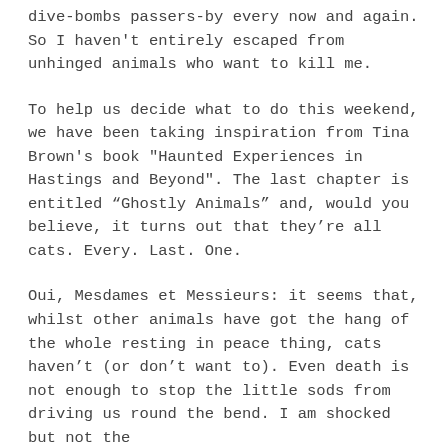dive-bombs passers-by every now and again. So I haven't entirely escaped from unhinged animals who want to kill me.
To help us decide what to do this weekend, we have been taking inspiration from Tina Brown's book "Haunted Experiences in Hastings and Beyond". The last chapter is entitled “Ghostly Animals” and, would you believe, it turns out that they’re all cats. Every. Last. One.
Oui, Mesdames et Messieurs: it seems that, whilst other animals have got the hang of the whole resting in peace thing, cats haven’t (or don’t want to). Even death is not enough to stop the little sods from driving us round the bend. I am shocked but not the